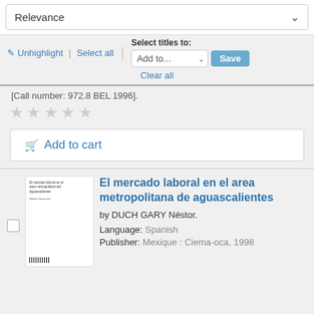Relevance
Unhighlight | Select all
Clear all
Select titles to: Add to... Save
[Call number: 972.8 BEL 1996].
[Figure (other): Five empty star ratings]
Add to cart
[Figure (photo): Book cover thumbnail for El mercado laboral en el area metropolitana de aguascalientes]
El mercado laboral en el area metropolitana de aguascalientes
by DUCH GARY Néstor.
Language: Spanish
Publisher: Mexique : Ciema-oca, 1998